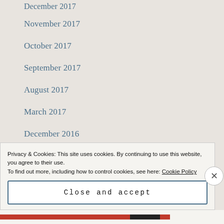December 2017
November 2017
October 2017
September 2017
August 2017
March 2017
December 2016
November 2016
Privacy & Cookies: This site uses cookies. By continuing to use this website, you agree to their use.
To find out more, including how to control cookies, see here: Cookie Policy
Close and accept